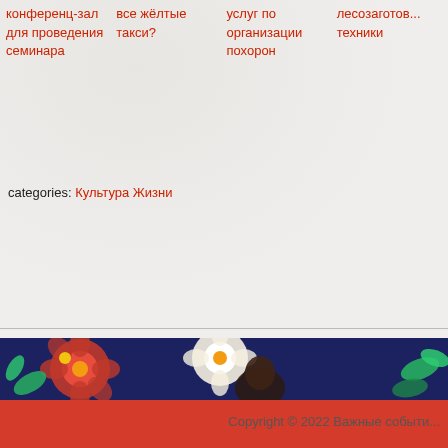конференц-зал для проведения семинара | все жёлтые такси? | услуг по организации похорон | лесозаготовительной техники
categories: Культура Жизни
[Figure (illustration): Decorative floral banner with dark navy blue background and colorful red, white, green, and yellow flower pattern]
Copyright © 2022 Важные событи...